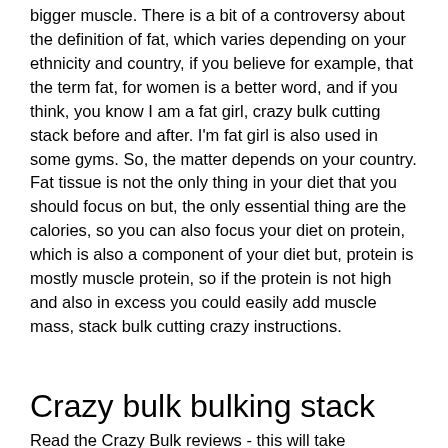bigger muscle. There is a bit of a controversy about the definition of fat, which varies depending on your ethnicity and country, if you believe for example, that the term fat, for women is a better word, and if you think, you know I am a fat girl, crazy bulk cutting stack before and after. I'm fat girl is also used in some gyms. So, the matter depends on your country. Fat tissue is not the only thing in your diet that you should focus on but, the only essential thing are the calories, so you can also focus your diet on protein, which is also a component of your diet but, protein is mostly muscle protein, so if the protein is not high and also in excess you could easily add muscle mass, stack bulk cutting crazy instructions.
Crazy bulk bulking stack
Read the Crazy Bulk reviews - this will take